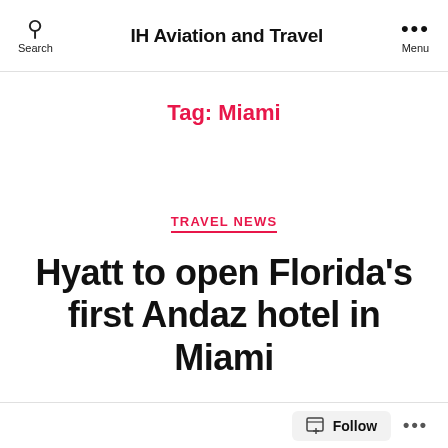IH Aviation and Travel
Tag: Miami
TRAVEL NEWS
Hyatt to open Florida's first Andaz hotel in Miami
By Ishan Haria   June 8, 2022